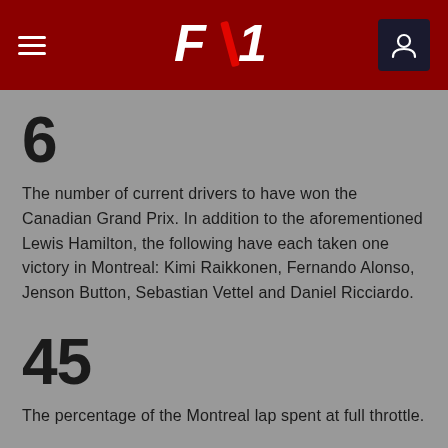F1 mobile app header with hamburger menu, F1 logo, and user icon
6
The number of current drivers to have won the Canadian Grand Prix. In addition to the aforementioned Lewis Hamilton, the following have each taken one victory in Montreal: Kimi Raikkonen, Fernando Alonso, Jenson Button, Sebastian Vettel and Daniel Ricciardo.
45
The percentage of the Montreal lap spent at full throttle.